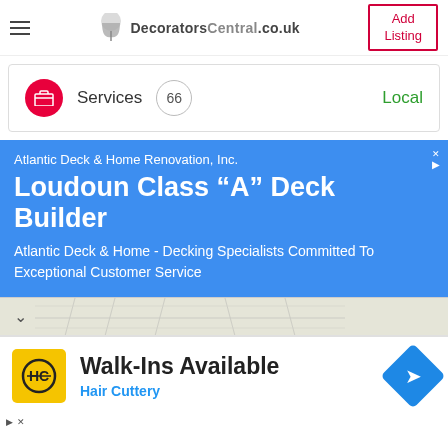DecoratorsCentral.co.uk | Add Listing
Services 66 Local
Atlantic Deck & Home Renovation, Inc. Loudoun Class “A” Deck Builder Atlantic Deck & Home - Decking Specialists Committed To Exceptional Customer Service
[Figure (screenshot): Map strip with chevron/down arrow and map background]
Walk-Ins Available Hair Cuttery